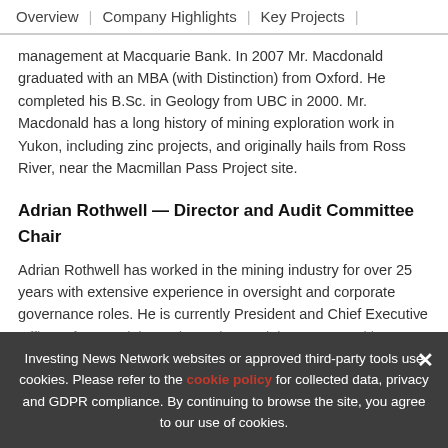Overview | Company Highlights | Key Projects |
management at Macquarie Bank. In 2007 Mr. Macdonald graduated with an MBA (with Distinction) from Oxford. He completed his B.Sc. in Geology from UBC in 2000. Mr. Macdonald has a long history of mining exploration work in Yukon, including zinc projects, and originally hails from Ross River, near the Macmillan Pass Project site.
Adrian Rothwell — Director and Audit Committee Chair
Adrian Rothwell has worked in the mining industry for over 25 years with extensive experience in oversight and corporate governance roles. He is currently President and Chief Executive Officer of Kore Mining Ltd., a private mining venture with…
Investing News Network websites or approved third-party tools use cookies. Please refer to the cookie policy for collected data, privacy and GDPR compliance. By continuing to browse the site, you agree to our use of cookies.